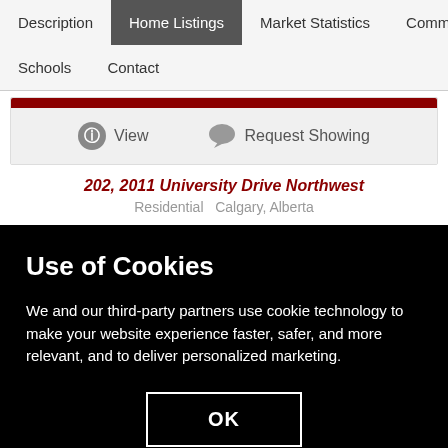Description | Home Listings | Market Statistics | Community | Schools | Contact
[Figure (screenshot): Red bar image strip at top of listing card]
View   Request Showing
202, 2011 University Drive Northwest
Residential  Calgary, Alberta
Use of Cookies
We and our third-party partners use cookie technology to make your website experience faster, safer, and more relevant, and to deliver personalized marketing.
OK